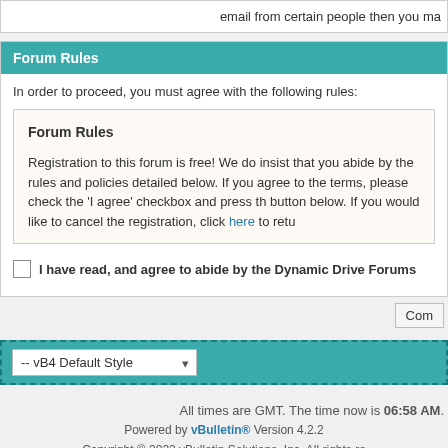email from certain people then you ma
Forum Rules
In order to proceed, you must agree with the following rules:
Forum Rules

Registration to this forum is free! We do insist that you abide by the rules and policies detailed below. If you agree to the terms, please check the 'I agree' checkbox and press the button below. If you would like to cancel the registration, click here to retu
I have read, and agree to abide by the Dynamic Drive Forums
Com
-- vB4 Default Style
All times are GMT. The time now is 06:58 AM.
Powered by vBulletin® Version 4.2.2
Copyright © 2022 vBulletin Solutions, Inc. All rights re